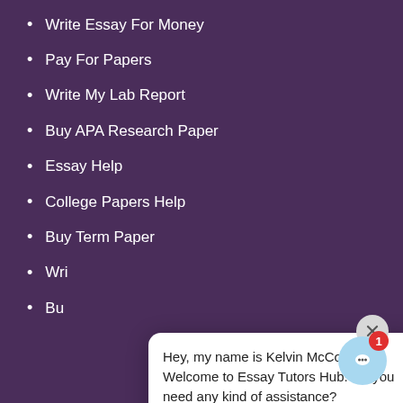Write Essay For Money
Pay For Papers
Write My Lab Report
Buy APA Research Paper
Essay Help
College Papers Help
Buy Term Paper
Wri[partially obscured]
Bu[partially obscured]
[Figure (screenshot): Chat popup from Kelvin McCoy at Essay Tutors Hub customer support saying 'Hey, my name is Kelvin McCoy. Welcome to Essay Tutors Hub. Do you need any kind of assistance?' with Customer Support label and 'just now' timestamp, plus a close button and avatar photo.]
Buy College Essay
Research Paper For Sale
Write My Thesis
Fast Essay Writing Service